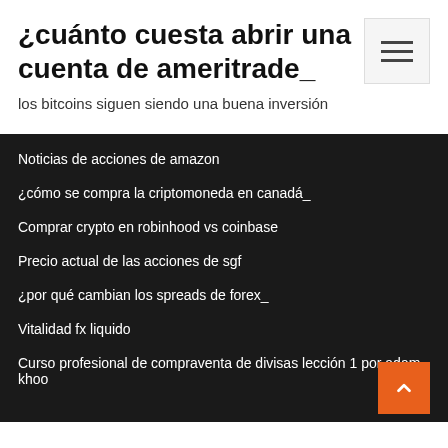¿cuánto cuesta abrir una cuenta de ameritrade_
los bitcoins siguen siendo una buena inversión
Noticias de acciones de amazon
¿cómo se compra la criptomoneda en canadá_
Comprar crypto en robinhood vs coinbase
Precio actual de las acciones de sgf
¿por qué cambian los spreads de forex_
Vitalidad fx liquido
Curso profesional de compraventa de divisas lección 1 por adam khoo